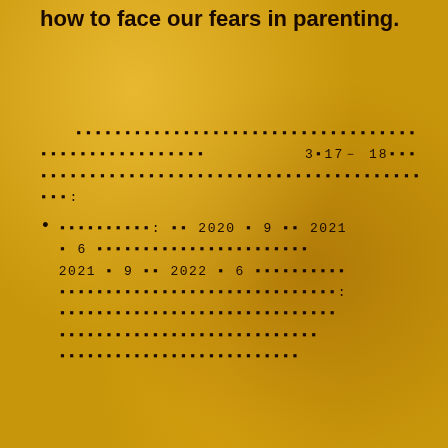how to face our fears in parenting.
............................... 3▪17- 18▪▪▪ .......................................................
▪▪▪▪▪▪▪▪▪▪: ▪▪ 2020 ▪ 9 ▪▪ 2021 ▪ 6 ▪▪▪▪▪▪▪▪▪▪▪▪▪▪▪▪▪▪▪▪ 2021 ▪ 9 ▪▪ 2022 ▪ 6 ▪▪▪▪▪▪▪▪▪▪ ▪▪▪▪▪▪▪▪▪▪▪▪▪▪▪▪▪▪▪▪▪▪▪▪▪▪▪▪▪: ▪▪▪▪▪▪▪▪▪▪▪▪▪▪▪▪▪▪▪▪▪▪▪▪▪▪▪▪▪ ▪▪▪▪▪▪▪▪▪▪▪▪▪▪▪▪▪▪▪▪▪▪▪▪▪▪▪▪▪▪ ▪▪▪▪▪▪▪▪▪▪▪▪▪▪▪▪▪▪▪▪▪▪▪▪▪▪▪